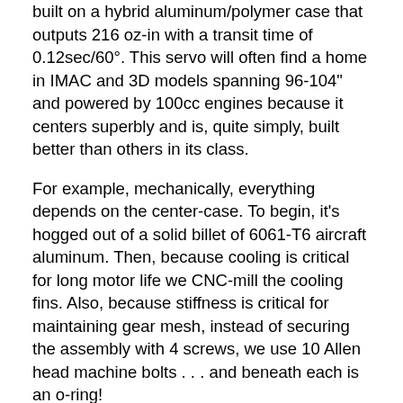built on a hybrid aluminum/polymer case that outputs 216 oz-in with a transit time of 0.12sec/60°. This servo will often find a home in IMAC and 3D models spanning 96-104" and powered by 100cc engines because it centers superbly and is, quite simply, built better than others in its class.
For example, mechanically, everything depends on the center-case. To begin, it's hogged out of a solid billet of 6061-T6 aircraft aluminum. Then, because cooling is critical for long motor life we CNC-mill the cooling fins. Also, because stiffness is critical for maintaining gear mesh, instead of securing the assembly with 4 screws, we use 10 Allen head machine bolts . . . and beneath each is an o-ring!
What about the things you can't see? All servos use steel shafts for the gears but while other fit them into plastic pockets, we reinforce our upper case pockets with bronze inserts because this gives you the durability of an all-metal